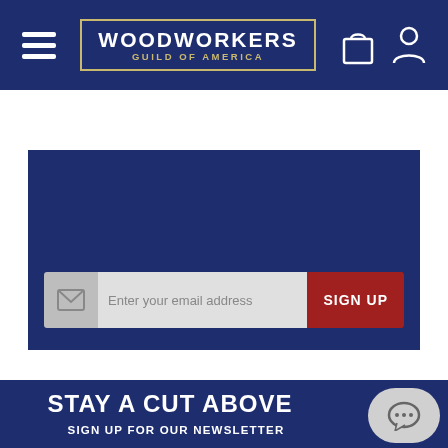[Figure (screenshot): Woodworkers Guild of America website header with hamburger menu, logo, shopping bag and user icons on dark navy background]
STAY IN THE KNOW
SIGN UP FOR THE NEWSLETTER
[Figure (infographic): Email signup form with email address input field and red SIGN UP button]
STAY A CUT ABOVE
SIGN UP FOR OUR NEWSLETTER
[Figure (infographic): Social share bar with Facebook, Twitter, and Pinterest icons at the bottom of the page]